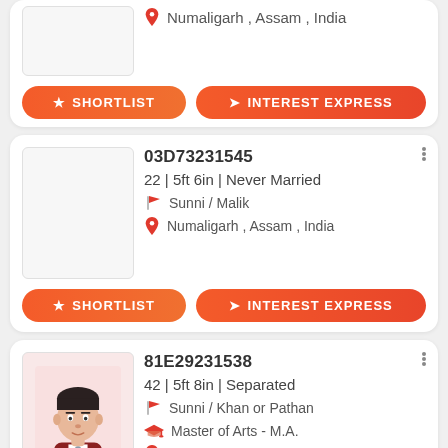[Figure (screenshot): Matrimonial profile listing app screenshot showing 3 profile cards. First card (partially visible): location Numaligarh, Assam, India with Shortlist and Interest Express buttons. Second card: ID 03D73231545, 22 | 5ft 6in | Never Married, Sunni / Malik, Numaligarh, Assam, India, with Shortlist and Interest Express buttons. Third card (partially visible): ID 81E29231538, 42 | 5ft 8in | Separated, Sunni / Khan or Pathan, Master of Arts - M.A., Numaligarh, Assam, India, with avatar photo.]